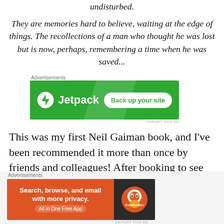undisturbed.
They are memories hard to believe, waiting at the edge of things. The recollections of a man who thought he was lost but is now, perhaps, remembering a time when he was saved...
[Figure (other): Jetpack advertisement banner: green background with Jetpack logo and 'Back up your site' button]
This was my first Neil Gaiman book, and I've been recommended it more than once by friends and colleagues! After booking to see the West End play, I knew I wanted to finally
[Figure (other): DuckDuckGo advertisement: orange left panel with 'Search, browse, and email with more privacy. All in One Free App' and dark right panel with DuckDuckGo logo]